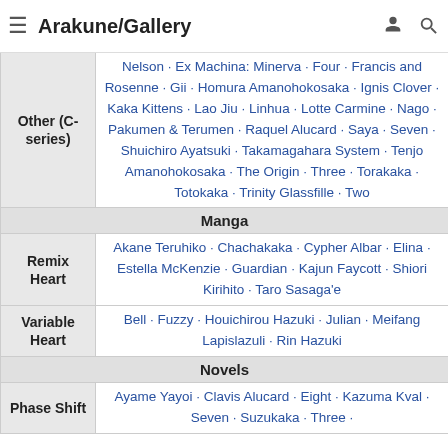Arakune/Gallery
| Other (C-series) | Nelson · Ex Machina: Minerva · Four · Francis and Rosenne · Gii · Homura Amanohokosaka · Ignis Clover · Kaka Kittens · Lao Jiu · Linhua · Lotte Carmine · Nago · Pakumen & Terumen · Raquel Alucard · Saya · Seven · Shuichiro Ayatsuki · Takamagahara System · Tenjo Amanohokosaka · The Origin · Three · Torakaka · Totokaka · Trinity Glassfille · Two |
| Manga |  |
| Remix Heart | Akane Teruhiko · Chachakaka · Cypher Albar · Elina · Estella McKenzie · Guardian · Kajun Faycott · Shiori Kirihito · Taro Sasaga'e |
| Variable Heart | Bell · Fuzzy · Houichirou Hazuki · Julian · Meifang Lapislazuli · Rin Hazuki |
| Novels |  |
| Phase Shift | Ayame Yayoi · Clavis Alucard · Eight · Kazuma Kval · Seven · Suzukaka · Three · |